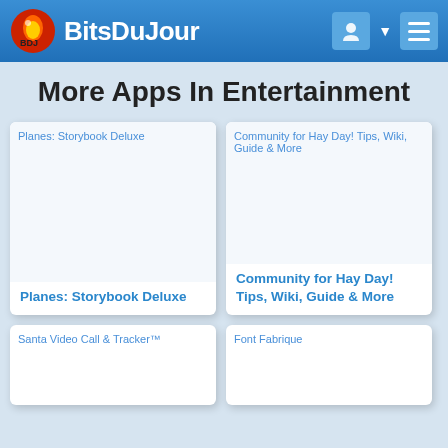BitsDuJour
More Apps In Entertainment
[Figure (screenshot): App card for Planes: Storybook Deluxe with placeholder image]
Planes: Storybook Deluxe
[Figure (screenshot): App card for Community for Hay Day! Tips, Wiki, Guide & More with placeholder image]
Community for Hay Day! Tips, Wiki, Guide & More
[Figure (screenshot): App card for Santa Video Call & Tracker™ with placeholder image (partially visible)]
[Figure (screenshot): App card for Font Fabrique with placeholder image (partially visible)]